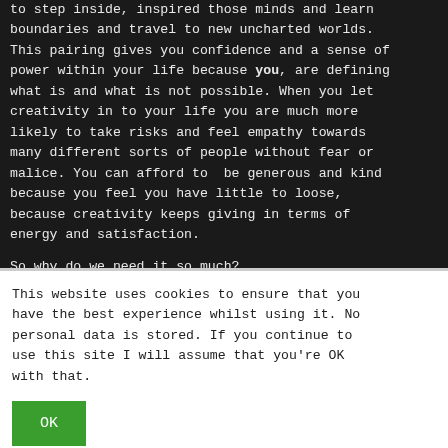to step inside, inspired those minds and learn boundaries and travel to new uncharted worlds. This pairing gives you confidence and a sense of power within your life because you, are defining what is and what is not possible. When you let creativity in to your life you are much more likely to take risks and feel empathy towards many different sorts of people without fear or malice. You can afford to  be generous and kind because you feel you have little to loose, because creativity keeps giving in terms of energy and satisfaction.
So why do we need it so much?
This website uses cookies to ensure that you have the best experience whilst using it. No personal data is stored. If you continue to use this site I will assume that you're OK with that.